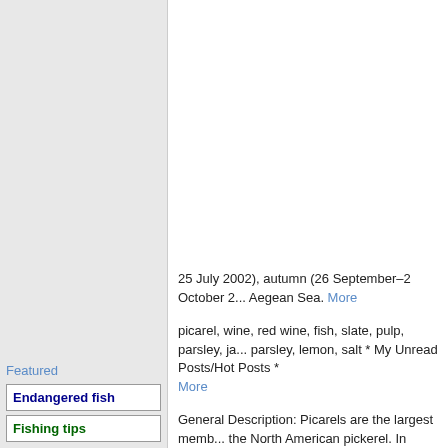25 July 2002), autumn (26 September–2 October 2... Aegean Sea. More
picarel, wine, red wine, fish, slate, pulp, parsley, ja... parsley, lemon, salt * My Unread Posts/Hot Posts * More
General Description: Picarels are the largest memb... the North American pickerel. In Venice, it was an ir... fish were considered lowly. More
picarel has not added a bio. Interests picarel has n...
Text Pages: Picarel Menhir - Standing Stone (Menh... by TheCaptain on Thursday, 10 February 2005 Pa... Picarel Menhir Alternate Name: Pierre lev More
Featured
Endangered fish
Fishing tips